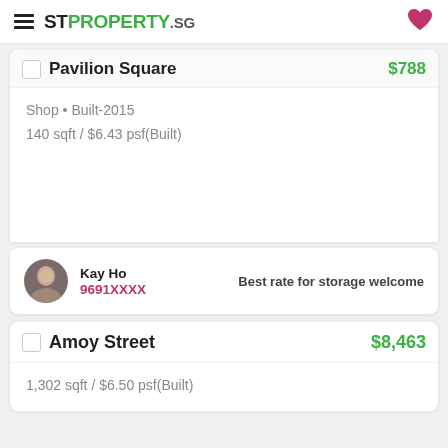STPROPERTY.sg
Pavilion Square — $788
Shop • Built-2015
140 sqft / $6.43 psf(Built)
Kay Ho — 9691XXXX — Best rate for storage welcome
Amoy Street — $8,463
1,302 sqft / $6.50 psf(Built)